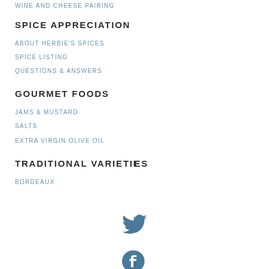WINE AND CHEESE PAIRING
SPICE APPRECIATION
ABOUT HERBIE'S SPICES
SPICE LISTING
QUESTIONS & ANSWERS
GOURMET FOODS
JAMS & MUSTARD
SALTS
EXTRA VIRGIN OLIVE OIL
TRADITIONAL VARIETIES
BORDEAUX
[Figure (illustration): Twitter bird icon in steel blue]
[Figure (illustration): Facebook icon in steel blue (partial, cropped at bottom)]